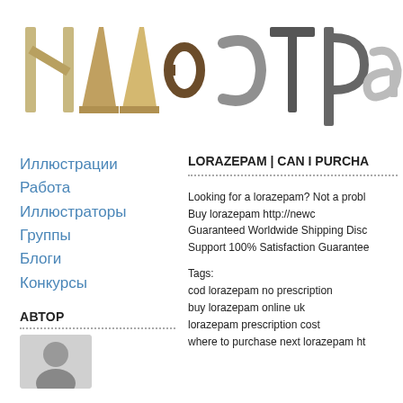[Figure (logo): Decorative logo spelling 'Иллюстрато' with each letter made from different textures and materials (wood, metal, rope, etc.)]
Иллюстрации
Работа
Иллюстраторы
Группы
Блоги
Конкурсы
АВТОР
[Figure (illustration): Gray avatar placeholder with person silhouette]
LORAZEPAM | CAN I PURCHA
Looking for a lorazepam? Not a probl
Buy lorazepam online ==> http://newc
Guaranteed Worldwide Shipping Disc
Support 100% Satisfaction Guarantee
Tags:
cod lorazepam no prescription
buy lorazepam online uk
lorazepam prescription cost
where to purchase next lorazepam ht